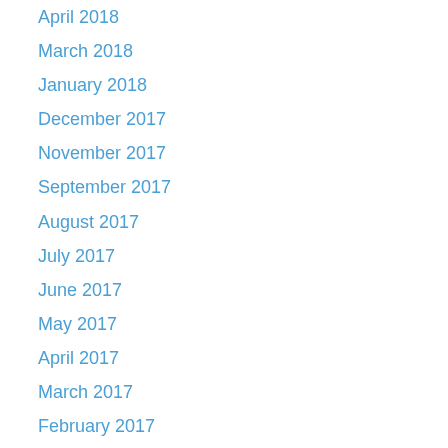April 2018
March 2018
January 2018
December 2017
November 2017
September 2017
August 2017
July 2017
June 2017
May 2017
April 2017
March 2017
February 2017
January 2017
December 2016
November 2016
October 2016
September 2016
August 2016
July 2016